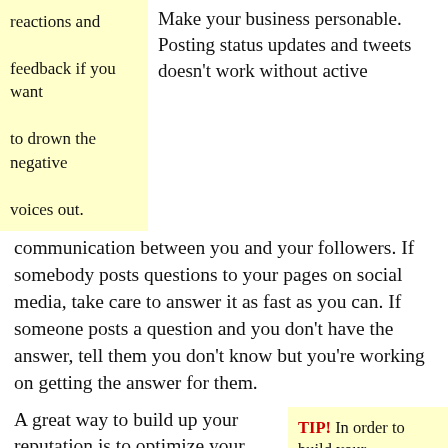reactions and feedback if you want to drown the negative voices out.
Make your business personable. Posting status updates and tweets doesn’t work without active communication between you and your followers. If somebody posts questions to your pages on social media, take care to answer it as fast as you can. If someone posts a question and you don’t have the answer, tell them you don’t know but you’re working on getting the answer for them.
A great way to build up your reputation is to optimize your web page for critical
TIP! In order to build your company’s reputation, you